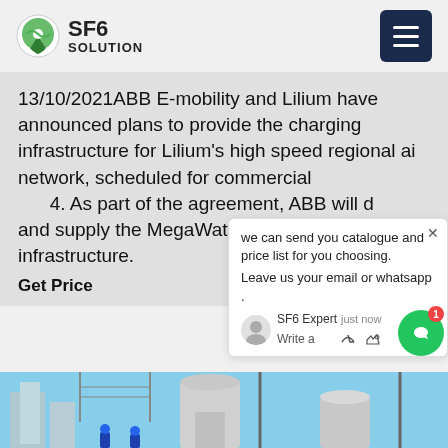SF6 SOLUTION
13/10/2021ABB E-mobility and Lilium have announced plans to provide the charging infrastructure for Lilium's high speed regional air network, scheduled for commercial ... 4. As part of the agreement, ABB will design and supply the MegaWatt fast charging infrastructure.
Get Price
[Figure (screenshot): Chat popup overlay showing message: 'we can send you catalogue and price list for you choosing. Leave us your email or whatsapp.' with SF6 Expert label, 'just now' timestamp, and write/thumbs-up/attachment icons. Green chat bubble with notification badge of 1.]
[Figure (photo): Electrical substation with large industrial equipment including transformers and SF6 gas insulated switchgear, workers in blue hard hats, outdoor setting with high-voltage power lines and urban buildings in background.]